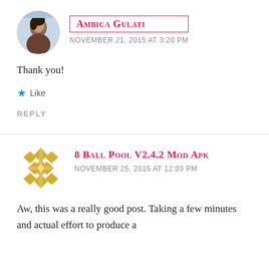[Figure (photo): Circular avatar photo of Ambica Gulati, a person shown from shoulders up]
Ambica Gulati
NOVEMBER 21, 2015 AT 3:20 PM
Thank you!
Like
REPLY
[Figure (illustration): Circular avatar with gold/yellow geometric diamond pattern on white background]
8 BALL POOL V2.4.2 MOD APK
NOVEMBER 25, 2015 AT 12:03 PM
Aw, this was a really good post. Taking a few minutes and actual effort to produce a